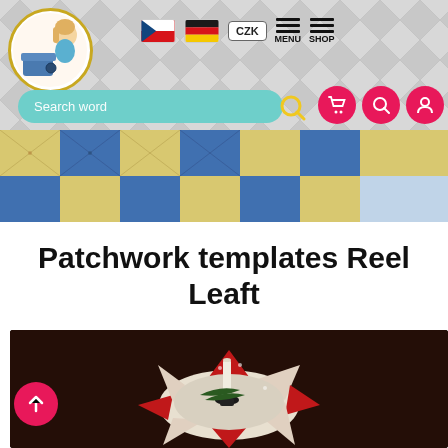[Figure (screenshot): Website header with logo of a girl sewing, Czech and German flags, CZK currency selector, hamburger menu and shop icons, teal search bar, pink icon circles for cart/search/user, patchwork quilt banner image, product title 'Patchwork templates Reel Leaft', product photo of a star-shaped patchwork table runner with a candle, and a pink scroll-to-top button]